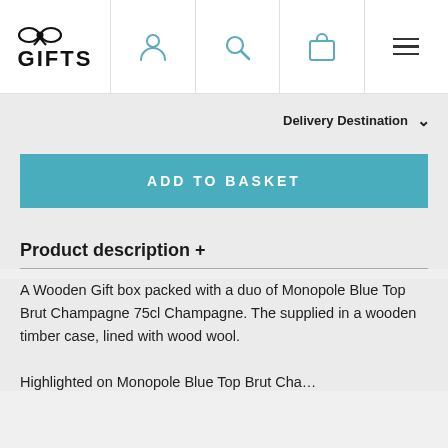GIFTS [logo with bow]
Delivery Destination
ADD TO BASKET
Product description +
A Wooden Gift box packed with a duo of Monopole Blue Top Brut Champagne 75cl Champagne. The supplied in a wooden timber case, lined with wood wool.
Highlighted on Monopole Blue Top Brut Cha…